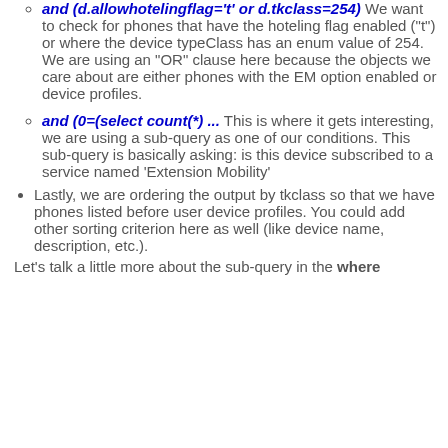and (d.allowhotelingflag='t' or d.tkclass=254) We want to check for phones that have the hoteling flag enabled ("t") or where the device typeClass has an enum value of 254. We are using an "OR" clause here because the objects we care about are either phones with the EM option enabled or device profiles.
and (0=(select count(*) ... This is where it gets interesting, we are using a sub-query as one of our conditions. This sub-query is basically asking: is this device subscribed to a service named 'Extension Mobility'
Lastly, we are ordering the output by tkclass so that we have phones listed before user device profiles. You could add other sorting criterion here as well (like device name, description, etc.).
Let's talk a little more about the sub-query in the where